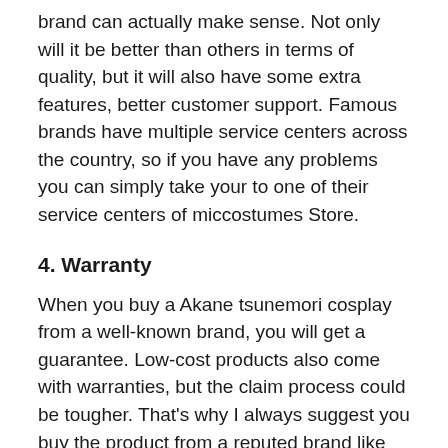brand can actually make sense. Not only will it be better than others in terms of quality, but it will also have some extra features, better customer support. Famous brands have multiple service centers across the country, so if you have any problems you can simply take your to one of their service centers of miccostumes Store.
4. Warranty
When you buy a Akane tsunemori cosplay from a well-known brand, you will get a guarantee. Low-cost products also come with warranties, but the claim process could be tougher. That's why I always suggest you buy the product from a reputed brand like miccostumes Store and the one that comes under warranty. It will save you from repair costs in the future.You can save on service costs if the product is under warranty!
4. Product Site